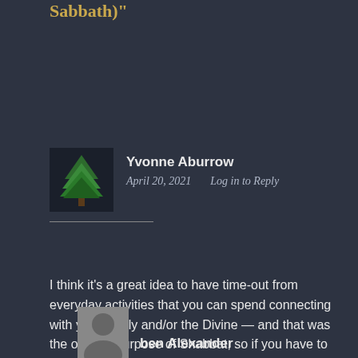Sabbath)"
Yvonne Aburrow
April 20, 2021   Log in to Reply
I think it’s a great idea to have time-out from everyday activities that you can spend connecting with your family and/or the Divine — and that was the original purpose of Shabbat, so if you have to get creative with Halakhic rulings and timers, so be it.
ben Alexander